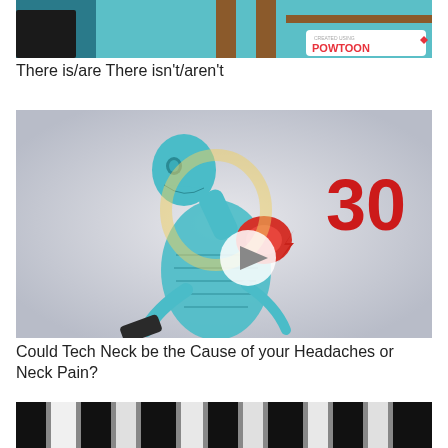[Figure (screenshot): Top portion of a classroom or furniture scene with teal/blue background, partially visible, with a Powtoon logo in the top right corner]
There is/are There isn't/aren't
[Figure (illustration): Illustration of a human skeleton bent over looking at a smartphone, with a red pain spot at the neck/shoulder junction and a lightning bolt symbol. The number 30 appears in red on the right side. A circular play button is visible in the center.]
Could Tech Neck be the Cause of your Headaches or Neck Pain?
[Figure (photo): Bottom portion of a black and white image, partially cut off at the bottom of the page]